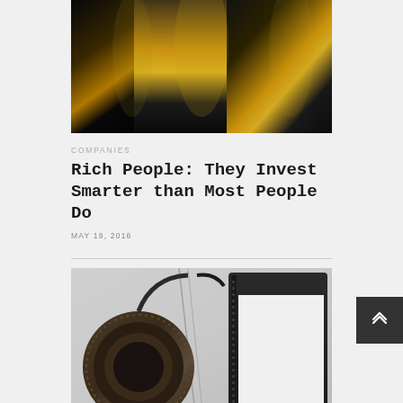[Figure (photo): Close-up photo of large industrial metal pipes, dark with golden/brown metallic sheen, shot from below looking up]
COMPANIES
Rich People: They Invest Smarter than Most People Do
MAY 19, 2016
[Figure (photo): Photo of over-ear headphones next to a tablet or e-reader device, on a light grey background]